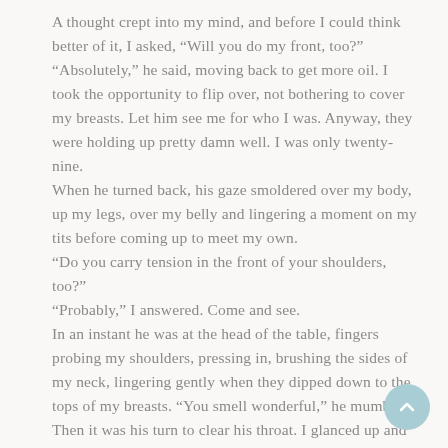A thought crept into my mind, and before I could think better of it, I asked, “Will you do my front, too?” “Absolutely,” he said, moving back to get more oil. I took the opportunity to flip over, not bothering to cover my breasts. Let him see me for who I was. Anyway, they were holding up pretty damn well. I was only twenty-nine.
When he turned back, his gaze smoldered over my body, up my legs, over my belly and lingering a moment on my tits before coming up to meet my own.
“Do you carry tension in the front of your shoulders, too?”
“Probably,” I answered. Come and see.
In an instant he was at the head of the table, fingers probing my shoulders, pressing in, brushing the sides of my neck, lingering gently when they dipped down to the tops of my breasts. “You smell wonderful,” he mumbled. Then it was his turn to clear his throat. I glanced up and saw that he wasn’t smiling anymore,